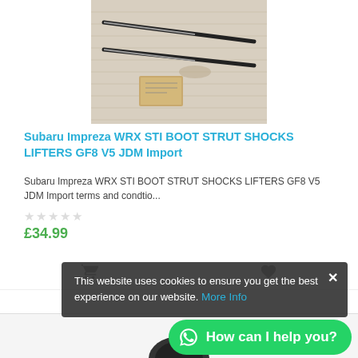[Figure (photo): Photo of two Subaru Impreza WRX STI boot strut shocks/lifters (GF8 V5 JDM Import) laid on a wooden surface with a small cardboard label]
Subaru Impreza WRX STI BOOT STRUT SHOCKS LIFTERS GF8 V5 JDM Import
Subaru Impreza WRX STI BOOT STRUT SHOCKS LIFTERS GF8 V5 JDM Import terms and condtio…
☆☆☆☆☆
£34.99
This website uses cookies to ensure you get the best experience on our website. More Info
[Figure (photo): Partial view of a second product (circular black auto part) shown at the bottom of the page]
How can I help you?